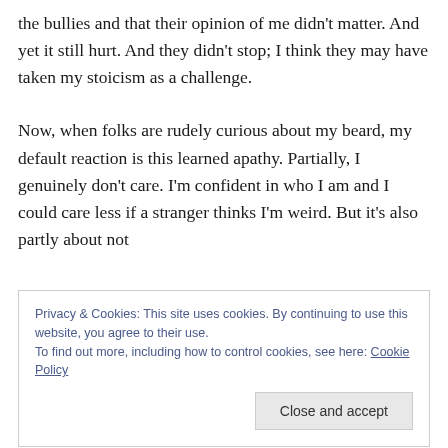the bullies and that their opinion of me didn't matter. And yet it still hurt. And they didn't stop; I think they may have taken my stoicism as a challenge.
Now, when folks are rudely curious about my beard, my default reaction is this learned apathy. Partially, I genuinely don't care. I'm confident in who I am and I could care less if a stranger thinks I'm weird. But it's also partly about not
Privacy & Cookies: This site uses cookies. By continuing to use this website, you agree to their use.
To find out more, including how to control cookies, see here: Cookie Policy
start a transformative conversation with this stranger that